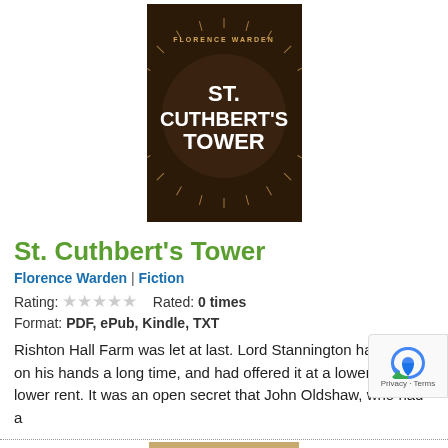[Figure (illustration): Book cover for 'St. Cuthbert's Tower' by Florence Warden. Dark brown/chocolate background with radiating burst lines around white bold text reading 'ST. CUTHBERT'S TOWER'. Author name 'FLORENCE WARDEN' at top.]
St. Cuthbert's Tower
Florence Warden | Fiction
Rating: ★★★★★   Rated: 0 times
Format: PDF, ePub, Kindle, TXT
Rishton Hall Farm was let at last. Lord Stannington had had it on his hands a long time, and had offered it at a lower and ever lower rent. It was an open secret that John Oldshaw, who had a
[Figure (illustration): Partial view of another book cover at the bottom of the page, appearing to be an old/vintage style cover with text 'THE' visible.]